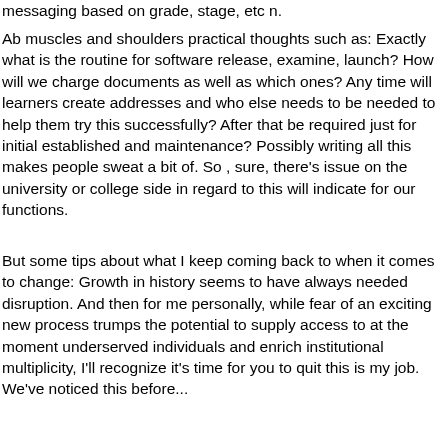messaging based on grade, stage, etc n.
Ab muscles and shoulders practical thoughts such as: Exactly what is the routine for software release, examine, launch? How will we charge documents as well as which ones? Any time will learners create addresses and who else needs to be needed to help them try this successfully? After that be required just for initial established and maintenance? Possibly writing all this makes people sweat a bit of. So , sure, there’s issue on the university or college side in regard to this will indicate for our functions.
But some tips about what I keep coming back to when it comes to change: Growth in history seems to have always needed disruption. And then for me personally, while fear of an exciting new process trumps the potential to supply access to at the moment underserved individuals and enrich institutional multiplicity, I’ll recognize it’s time for you to quit this is my job. We’ve noticed this before...